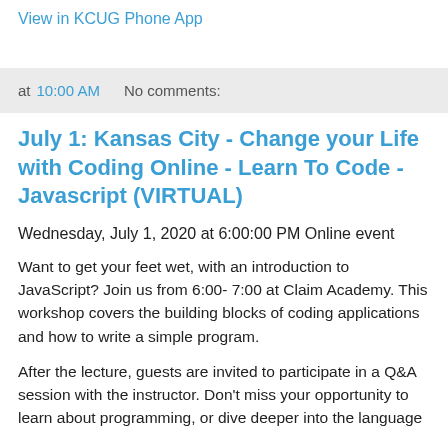View in KCUG Phone App
at 10:00 AM   No comments:
July 1: Kansas City - Change your Life with Coding Online - Learn To Code - Javascript (VIRTUAL)
Wednesday, July 1, 2020 at 6:00:00 PM Online event
Want to get your feet wet, with an introduction to JavaScript? Join us from 6:00- 7:00 at Claim Academy. This workshop covers the building blocks of coding applications and how to write a simple program.
After the lecture, guests are invited to participate in a Q&A session with the instructor. Don't miss your opportunity to learn about programming, or dive deeper into the language